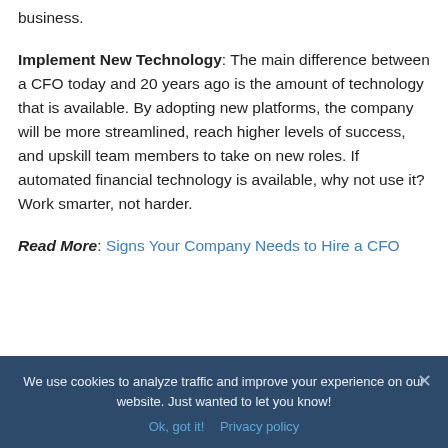business.
Implement New Technology: The main difference between a CFO today and 20 years ago is the amount of technology that is available. By adopting new platforms, the company will be more streamlined, reach higher levels of success, and upskill team members to take on new roles. If automated financial technology is available, why not use it? Work smarter, not harder.
Read More: Signs Your Company Needs to Hire a CFO
We use cookies to analyze traffic and improve your experience on our website. Just wanted to let you know!
Ok, got it!   Privacy policy